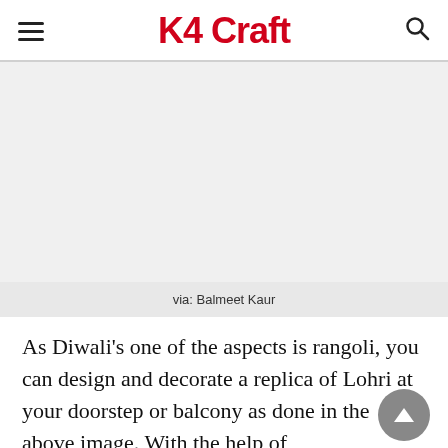K4 Craft
[Figure (photo): Large image area showing a rangoli design, appears blank/white in this render]
via: Balmeet Kaur
As Diwali's one of the aspects is rangoli, you can design and decorate a replica of Lohri at your doorstep or balcony as done in the above image. With the help of